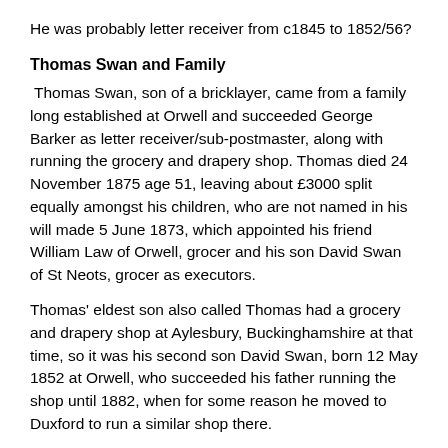He was probably letter receiver from c1845 to 1852/56?
Thomas Swan and Family
Thomas Swan, son of a bricklayer, came from a family long established at Orwell and succeeded George Barker as letter receiver/sub-postmaster, along with running the grocery and drapery shop. Thomas died 24 November 1875 age 51, leaving about £3000 split equally amongst his children, who are not named in his will made 5 June 1873, which appointed his friend William Law of Orwell, grocer and his son David Swan of St Neots, grocer as executors.
Thomas' eldest son also called Thomas had a grocery and drapery shop at Aylesbury, Buckinghamshire at that time, so it was his second son David Swan, born 12 May 1852 at Orwell, who succeeded his father running the shop until 1882, when for some reason he moved to Duxford to run a similar shop there.